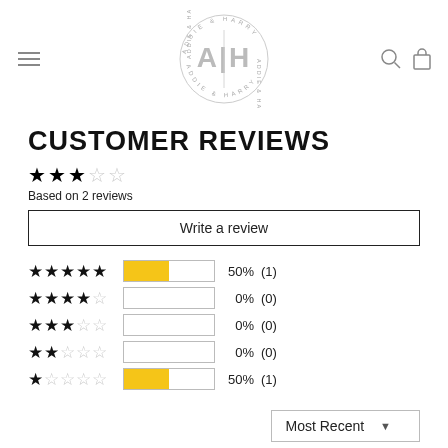[Figure (logo): Addie & Harry circular logo with A|H monogram in center]
CUSTOMER REVIEWS
★★★☆☆
Based on 2 reviews
Write a review
| Stars | Bar | Percent | Count |
| --- | --- | --- | --- |
| ★★★★★ | 50% | 50% | (1) |
| ★★★★☆ | 0% | 0% | (0) |
| ★★★☆☆ | 0% | 0% | (0) |
| ★★☆☆☆ | 0% | 0% | (0) |
| ★☆☆☆☆ | 50% | 50% | (1) |
Most Recent ▼